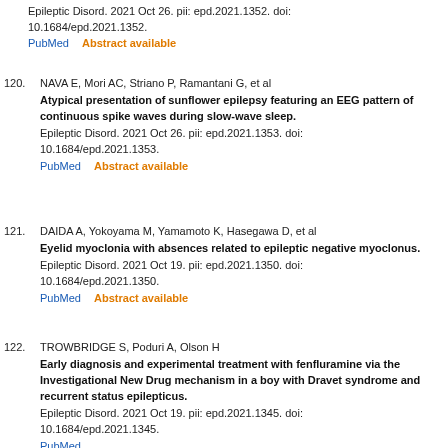Epileptic Disord. 2021 Oct 26. pii: epd.2021.1352. doi: 10.1684/epd.2021.1352.
PubMed    Abstract available
120. NAVA E, Mori AC, Striano P, Ramantani G, et al
Atypical presentation of sunflower epilepsy featuring an EEG pattern of continuous spike waves during slow-wave sleep.
Epileptic Disord. 2021 Oct 26. pii: epd.2021.1353. doi: 10.1684/epd.2021.1353.
PubMed    Abstract available
121. DAIDA A, Yokoyama M, Yamamoto K, Hasegawa D, et al
Eyelid myoclonia with absences related to epileptic negative myoclonus.
Epileptic Disord. 2021 Oct 19. pii: epd.2021.1350. doi: 10.1684/epd.2021.1350.
PubMed    Abstract available
122. TROWBRIDGE S, Poduri A, Olson H
Early diagnosis and experimental treatment with fenfluramine via the Investigational New Drug mechanism in a boy with Dravet syndrome and recurrent status epilepticus.
Epileptic Disord. 2021 Oct 19. pii: epd.2021.1345. doi: 10.1684/epd.2021.1345.
PubMed